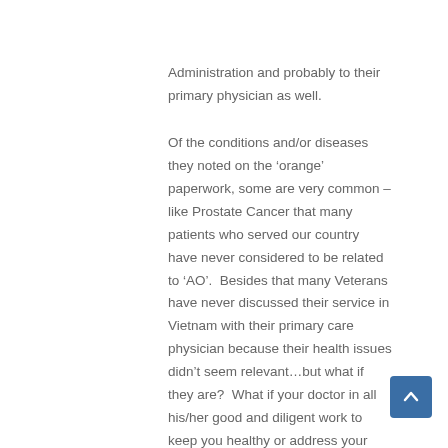Administration and probably to their primary physician as well.

Of the conditions and/or diseases they noted on the 'orange' paperwork, some are very common – like Prostate Cancer that many patients who served our country have never considered to be related to 'AO'.  Besides that many Veterans have never discussed their service in Vietnam with their primary care physician because their health issues didn't seem relevant…but what if they are?  What if your doctor in all his/her good and diligent work to keep you healthy or address your ailments doesn't know you were exposed? Just in case it is relevant, please make them aware that you served in Vietnam.